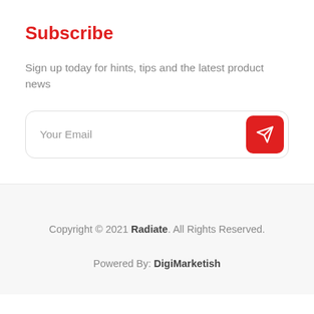Subscribe
Sign up today for hints, tips and the latest product news
[Figure (other): Email input field with a red send button (paper plane icon)]
Copyright © 2021 Radiate. All Rights Reserved.
Powered By: DigiMarketish